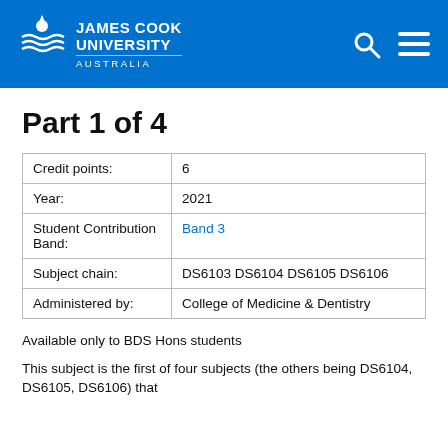James Cook University Australia
Part 1 of 4
| Credit points: | 6 |
| Year: | 2021 |
| Student Contribution Band: | Band 3 |
| Subject chain: | DS6103 DS6104 DS6105 DS6106 |
| Administered by: | College of Medicine & Dentistry |
Available only to BDS Hons students
This subject is the first of four subjects (the others being DS6104, DS6105, DS6106) that ...